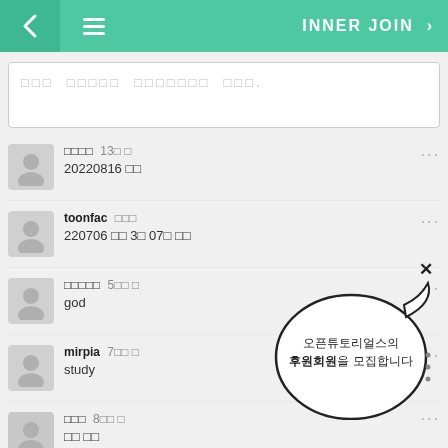INNER JOIN
□□□ □□□□□ □□□□□□□ □□□.
□□□□  13□ □  20220816 □□
toonfac □□□  220706 □□ 3□ 07□ □□
□□□□□  5□□ □  god
mirpia  7□□ □  study
□□□  8□□ □  □□ □□
[Figure (other): Popup bubble with text: 오픈튜토리얼스의 후원회원을 모집합니다 and X close button]